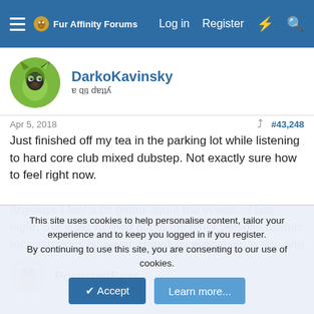Fur Affinity Forums  Log in  Register
DarkoKavinsky
a bit patty (mirrored subtitle)
Apr 5, 2018  #43,248
Just finished off my tea in the parking lot while listening to hard core club mixed dubstep. Not exactly sure how to feel right now.

Anyways I feel a bit better about the events of last night. Still a big worried about the other persons actions reprocussions however. Hopefully everything is fine and I'm over thinking this.
PolarizedBear
This site uses cookies to help personalise content, tailor your experience and to keep you logged in if you register.
By continuing to use this site, you are consenting to our use of cookies.